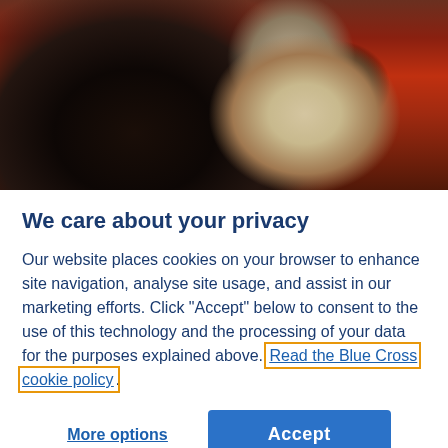[Figure (photo): Two dogs close together — one dark/black and one white/cream colored, photographed against a red background]
We care about your privacy
Our website places cookies on your browser to enhance site navigation, analyse site usage, and assist in our marketing efforts. Click "Accept" below to consent to the use of this technology and the processing of your data for the purposes explained above. Read the Blue Cross cookie policy.
More options
Accept